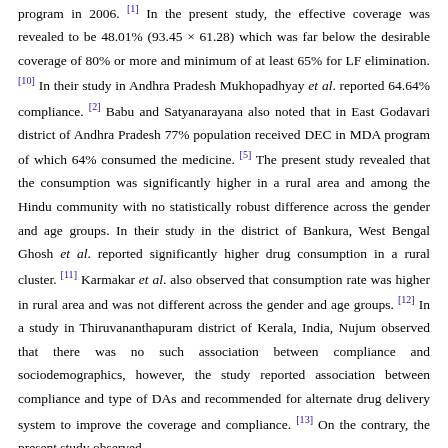program in 2006. [1] In the present study, the effective coverage was revealed to be 48.01% (93.45 × 61.28) which was far below the desirable coverage of 80% or more and minimum of at least 65% for LF elimination. [10] In their study in Andhra Pradesh Mukhopadhyay et al. reported 64.64% compliance. [2] Babu and Satyanarayana also noted that in East Godavari district of Andhra Pradesh 77% population received DEC in MDA program of which 64% consumed the medicine. [5] The present study revealed that the consumption was significantly higher in a rural area and among the Hindu community with no statistically robust difference across the gender and age groups. In their study in the district of Bankura, West Bengal Ghosh et al. reported significantly higher drug consumption in a rural cluster. [11] Karmakar et al. also observed that consumption rate was higher in rural area and was not different across the gender and age groups. [12] In a study in Thiruvananthapuram district of Kerala, India, Nujum observed that there was no such association between compliance and sociodemographics, however, the study reported association between compliance and type of DAs and recommended for alternate drug delivery system to improve the coverage and compliance. [13] On the contrary, the present study observed